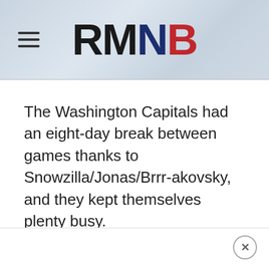RMNB
The Washington Capitals had an eight-day break between games thanks to Snowzilla/Jonas/Brrr-akovsky, and they kept themselves plenty busy.